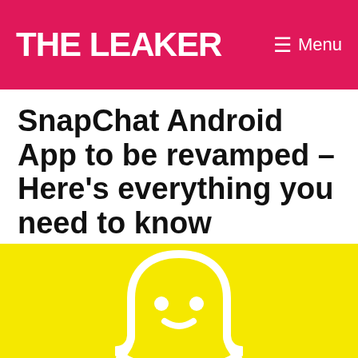THE LEAKER  Menu
SnapChat Android App to be revamped – Here's everything you need to know
Last Updated On February 27, 2019 by Vishal
[Figure (illustration): Yellow background with Snapchat ghost logo partially visible at bottom]